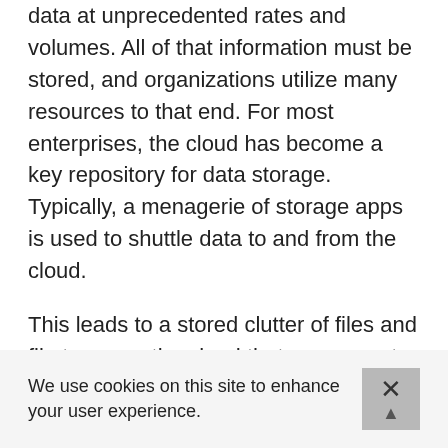data at unprecedented rates and volumes. All of that information must be stored, and organizations utilize many resources to that end. For most enterprises, the cloud has become a key repository for data storage. Typically, a menagerie of storage apps is used to shuttle data to and from the cloud.
This leads to a stored clutter of files and file types on the cloud that users must negotiate to find relevant information. Many solutions do little to aid users in navigating that cloud clutter, and some solutions may even contribute to the confusion.
We use cookies on this site to enhance your user experience.